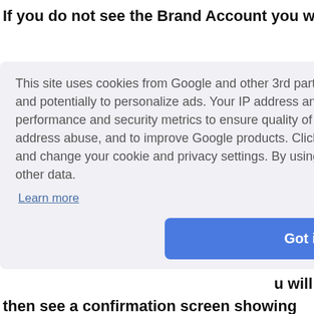If you do not see the Brand Account you want
[Figure (screenshot): Cookie consent dialog overlay with text about cookies, a 'Learn more' link, and a 'Got it!' button]
u will
then see a confirmation screen showing the